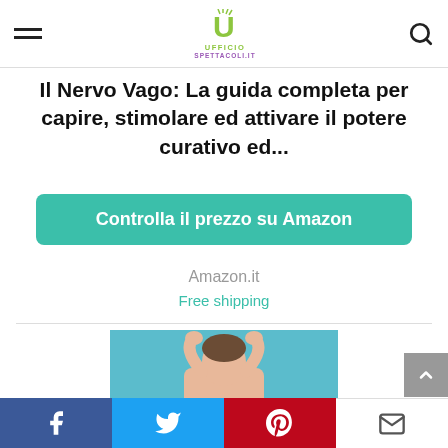Ufficio Spettacoli — navigation header with hamburger menu, logo, and search icon
Il Nervo Vago: La guida completa per capire, stimolare ed attivare il potere curativo ed...
Controlla il prezzo su Amazon
Amazon.it
Free shipping
[Figure (photo): Book cover for JOHN NIVEN - MASCHIO BIANCO, showing a man in a bathtub against a teal background]
Social sharing bar: Facebook, Twitter, Pinterest, Email